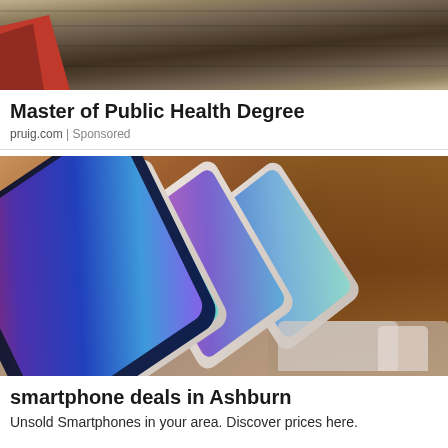[Figure (photo): Top portion of an advertisement showing what appears to be a wooden surface/deck with a partial view of a red-covered book or object]
Master of Public Health Degree
pruig.com | Sponsored
[Figure (photo): Photo of multiple smartphones displayed on a retail stand, with a dark smartphone in the foreground and white/silver smartphones in the background, against a warm brown background]
smartphone deals in Ashburn
Unsold Smartphones in your area. Discover prices here.